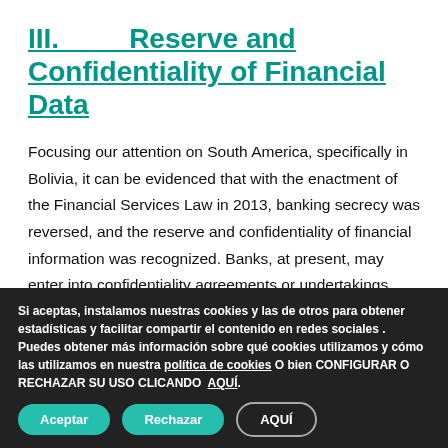III.         Reserve and Confidentiality of Financial Data
Focusing our attention on South America, specifically in Bolivia, it can be evidenced that with the enactment of the Financial Services Law in 2013, banking secrecy was reversed, and the reserve and confidentiality of financial information was recognized. Banks, at present, may enter into confidentiality agreements or undertakings with customers under which express contractual obligations arise.
Si aceptas, instalamos nuestras cookies y las de otros para obtener estadísticas y facilitar compartir el contenido en redes sociales . Puedes obtener más información sobre qué cookies utilizamos y cómo las utilizamos en nuestra política de cookies O bien CONFIGURAR O RECHAZAR SU USO CLICANDO AQUÍ.